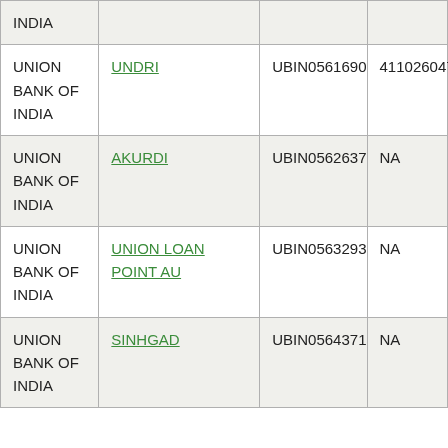| INDIA |  |  |  |
| UNION BANK OF INDIA | UNDRI | UBIN0561690 | 411026047 |
| UNION BANK OF INDIA | AKURDI | UBIN0562637 | NA |
| UNION BANK OF INDIA | UNION LOAN POINT AU | UBIN0563293 | NA |
| UNION BANK OF INDIA | SINHGAD | UBIN0564371 | NA |